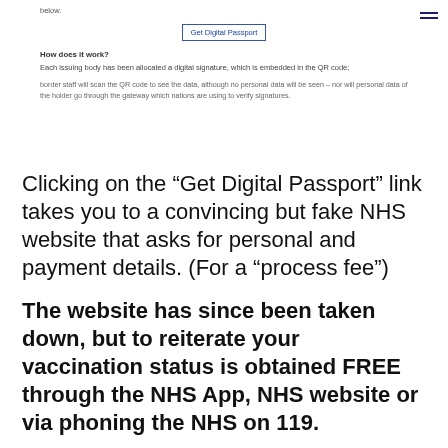below.
[Figure (screenshot): A button labelled 'Get Digital Passport' with a blue border]
How does it work?
Each issuing body has been allocated a digital signature, which is embedded in the QR code;
border staff will scan the QR code to see the data, although no personal data will be seen – nor will personal data of the holder go through the gateway which nations are using to verify signatures.
Clicking on the “Get Digital Passport” link takes you to a convincing but fake NHS website that asks for personal and payment details. (For a “process fee”)
The website has since been taken down, but to reiterate your vaccination status is obtained FREE through the NHS App, NHS website or via phoning the NHS on 119.